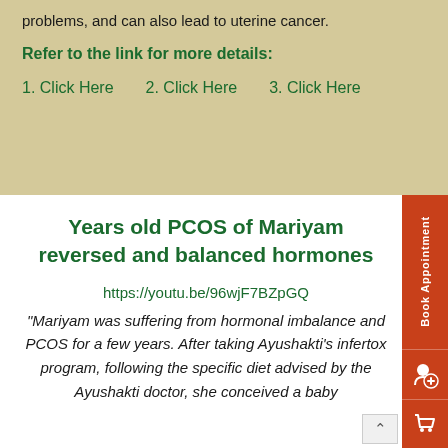problems, and can also lead to uterine cancer.
Refer to the link for more details:
1. Click Here   2. Click Here   3. Click Here
Years old PCOS of Mariyam reversed and balanced hormones
https://youtu.be/96wjF7BZpGQ
"Mariyam was suffering from hormonal imbalance and PCOS for a few years. After taking Ayushakti's infertox program, following the specific diet advised by the Ayushakti doctor, she conceived a baby